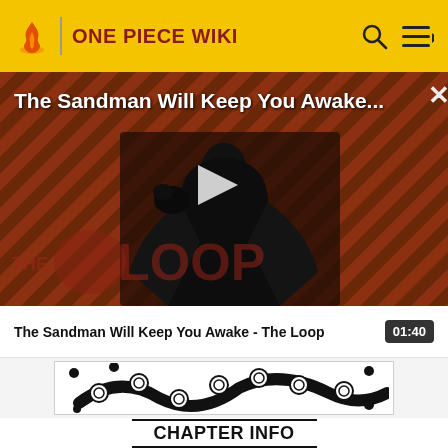ONE PIECE WIKI
[Figure (screenshot): Video thumbnail for 'The Sandman Will Keep You Awake...' featuring a man in black with a crow, red and black striped background, with 'THE LOOP' watermark and a play button overlay]
The Sandman Will Keep You Awake - The Loop
01:40
[Figure (illustration): Black and white manga-style illustration showing tentacles with suction cups, polka dot patterns]
CHAPTER INFO